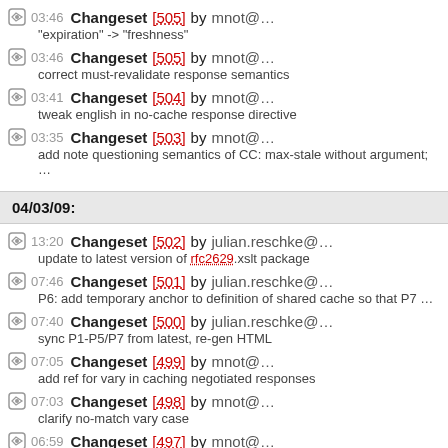03:46 Changeset [505] by mnot@… correct must-revalidate response semantics
03:41 Changeset [504] by mnot@… tweak english in no-cache response directive
03:35 Changeset [503] by mnot@… add note questioning semantics of CC: max-stale without argument; …
04/03/09:
13:20 Changeset [502] by julian.reschke@… update to latest version of rfc2629.xslt package
07:46 Changeset [501] by julian.reschke@… P6: add temporary anchor to definition of shared cache so that P7 …
07:40 Changeset [500] by julian.reschke@… sync P1-P5/P7 from latest, re-gen HTML
07:05 Changeset [499] by mnot@… add ref for vary in caching negotiated responses
07:03 Changeset [498] by mnot@… clarify no-match vary case
06:59 Changeset [497] by mnot@…